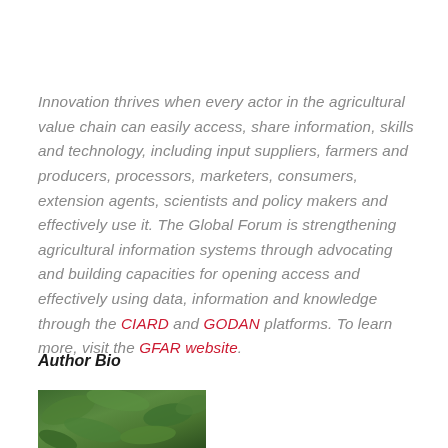Innovation thrives when every actor in the agricultural value chain can easily access, share information, skills and technology, including input suppliers, farmers and producers, processors, marketers, consumers, extension agents, scientists and policy makers and effectively use it. The Global Forum is strengthening agricultural information systems through advocating and building capacities for opening access and effectively using data, information and knowledge through the CIARD and GODAN platforms. To learn more, visit the GFAR website.
Author Bio
[Figure (photo): Partial photo of green foliage/plant matter, cropped at bottom of page]